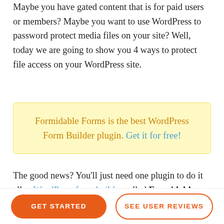Maybe you have gated content that is for paid users or members? Maybe you want to use WordPress to password protect media files on your site? Well, today we are going to show you 4 ways to protect file access on your WordPress site.
Formidable Forms is the best WordPress Form Builder plugin. Get it for free!
The good news? You'll just need one plugin to do it all: a WordPress form builder called Formidable Forms. Using these methods, you can use